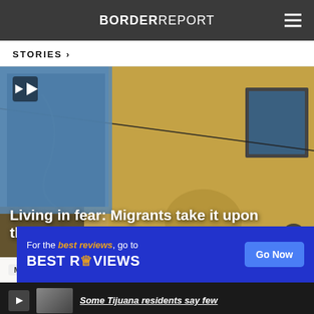BORDER REPORT
STORIES ❯
[Figure (photo): Video thumbnail showing a tan/yellow stucco building wall with blue sky and satellite dish visible, play button in top-left corner]
Living in fear: Migrants take it upon themselves ...
Migra ... ays ago
[Figure (screenshot): Advertisement overlay: 'For the best reviews, go to BESTREVIEWS' with Go Now button]
Some Tijuana residents say few...